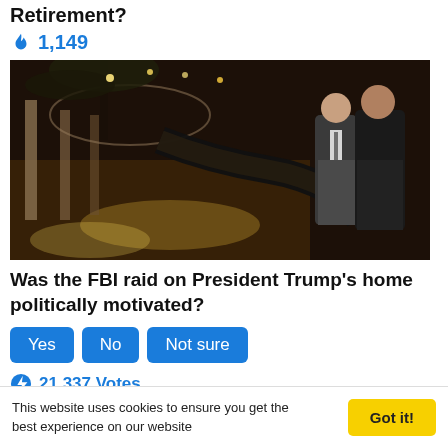Retirement?
🔥 1,149
[Figure (photo): Interior photo of Mar-a-Lago club showing two men in dark suits standing and conversing, with ornate architecture, palm trees, and warm lighting visible]
Was the FBI raid on President Trump's home politically motivated?
Yes | No | Not sure (poll buttons)
⚡ 21,337 Votes
This website uses cookies to ensure you get the best experience on our website